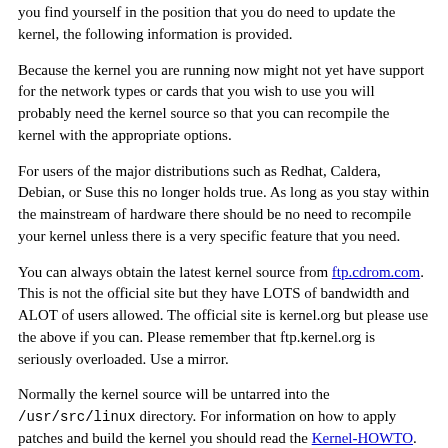you find yourself in the position that you do need to update the kernel, the following information is provided.
Because the kernel you are running now might not yet have support for the network types or cards that you wish to use you will probably need the kernel source so that you can recompile the kernel with the appropriate options.
For users of the major distributions such as Redhat, Caldera, Debian, or Suse this no longer holds true. As long as you stay within the mainstream of hardware there should be no need to recompile your kernel unless there is a very specific feature that you need.
You can always obtain the latest kernel source from ftp.cdrom.com. This is not the official site but they have LOTS of bandwidth and ALOT of users allowed. The official site is kernel.org but please use the above if you can. Please remember that ftp.kernel.org is seriously overloaded. Use a mirror.
Normally the kernel source will be untarred into the /usr/src/linux directory. For information on how to apply patches and build the kernel you should read the Kernel-HOWTO. For information on how to configure kernel modules you should read the ``Modules mini-HOWTO''. Also, the README file found in the kernel sources and the Documentation directory are very